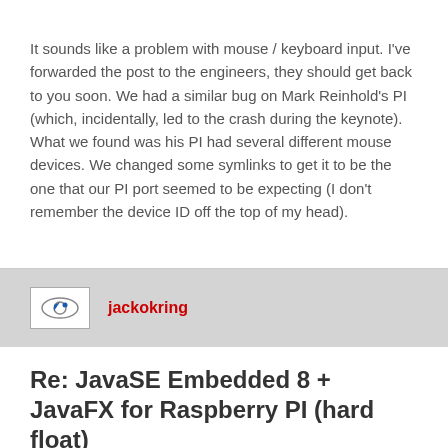It sounds like a problem with mouse / keyboard input. I've forwarded the post to the engineers, they should get back to you soon. We had a similar bug on Mark Reinhold's PI (which, incidentally, led to the crash during the keynote). What we found was his PI had several different mouse devices. We changed some symlinks to get it to be the one that our PI port seemed to be expecting (I don't remember the device ID off the top of my head).
jackokring
Re: JavaSE Embedded 8 + JavaFX for Raspberry PI (hard float)
Wed Dec 19, 2012 10:14 pm
I use the non HDMI video. The settings say the full HD